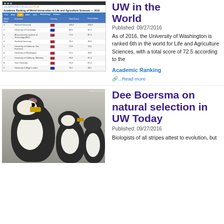[Figure (screenshot): Screenshot of Academic Ranking of World Universities in Life and Agriculture Sciences 2016. Shows a table with top universities including Harvard University (rank 1, score 100.0), University of Cambridge (rank 2, score 83.6), Massachusetts Institute of Technology (rank 3, score 77.8), Stanford University (rank 4, score 76.2), University of California San Francisco (rank 5, score 72.8), University of Washington (rank 6, score 72.5), University of California Berkeley (rank 7, score 70.8), Yale University (rank 8, score 74.8), University College London (rank 9, score 74.2).]
UW in the World
Published: 09/27/2016
As of 2016, the University of Washington is ranked 6th in the world for Life and Agriculture Sciences, with a total score of 72.5 according to the
Academic Ranking
...Read more
[Figure (photo): Photo of penguins — three Magellanic penguins close up, showing their black and white plumage, with a pink/bare patch on the head of the largest penguin in the foreground.]
Dee Boersma on natural selection in UW Today
Published: 09/27/2016
Biologists of all stripes attest to evolution, but